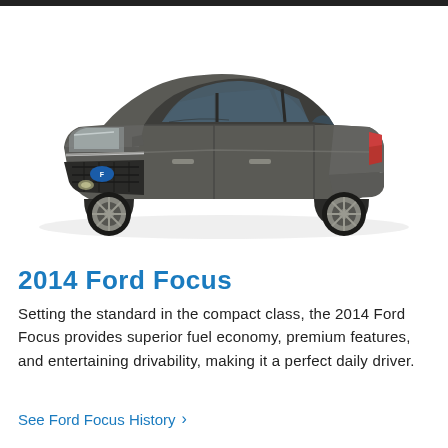[Figure (photo): 2014 Ford Focus sedan in dark gray/charcoal color, three-quarter front view on white background]
2014 Ford Focus
Setting the standard in the compact class, the 2014 Ford Focus provides superior fuel economy, premium features, and entertaining drivability, making it a perfect daily driver.
See Ford Focus History >